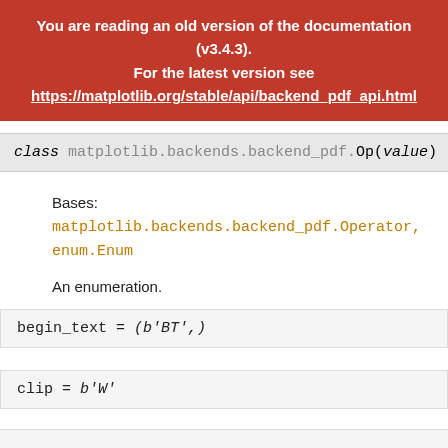You are reading an old version of the documentation (v3.4.3). For the latest version see https://matplotlib.org/stable/api/backend_pdf_api.html
class matplotlib.backends.backend_pdf.Op(value) [sou
Bases: matplotlib.backends.backend_pdf.Operator, enum.Enum
An enumeration.
begin_text = (b'BT',)
clip = b'W'
close_fill_stroke = b'b'